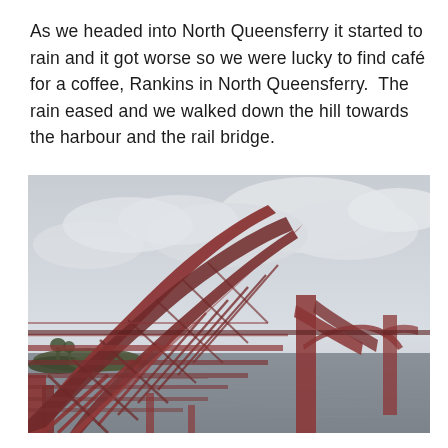As we headed into North Queensferry it started to rain and it got worse so we were lucky to find café for a coffee, Rankins in North Queensferry.  The rain eased and we walked down the hill towards the harbour and the rail bridge.
[Figure (photo): Photo of the Forth Rail Bridge (a large red cantilever railway bridge) viewed from below and to the side near North Queensferry, showing its red steel lattice structure spanning the Firth of Forth under an overcast grey sky.]